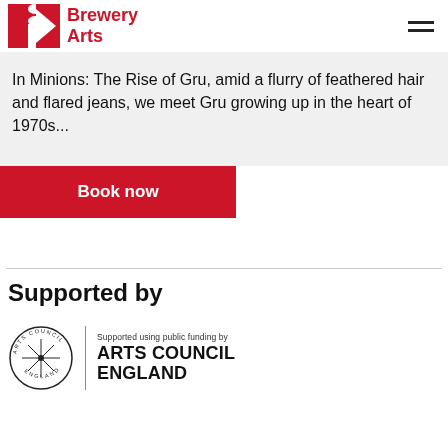Brewery Arts
In Minions: The Rise of Gru, amid a flurry of feathered hair and flared jeans, we meet Gru growing up in the heart of 1970s...
Book now
Supported by
[Figure (logo): Arts Council England logo with circular text badge and supporting text reading: Supported using public funding by ARTS COUNCIL ENGLAND]
Supported using public funding by ARTS COUNCIL ENGLAND